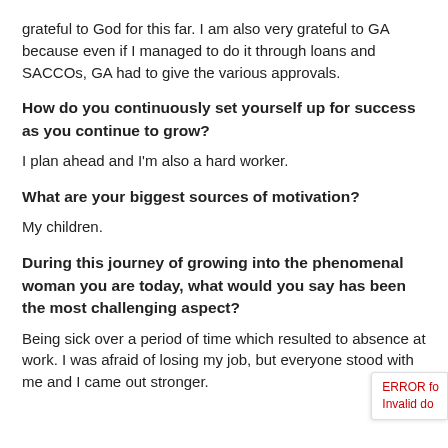grateful to God for this far. I am also very grateful to GA because even if I managed to do it through loans and SACCOs, GA had to give the various approvals.
How do you continuously set yourself up for success as you continue to grow?
I plan ahead and I'm also a hard worker.
What are your biggest sources of motivation?
My children.
During this journey of growing into the phenomenal woman you are today, what would you say has been the most challenging aspect?
Being sick over a period of time which resulted to absence at work. I was afraid of losing my job, but everyone stood with me and I came out stronger.